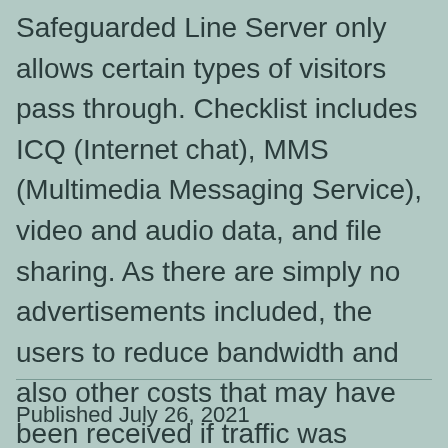traverses the VPN server. Mainly, the Safeguarded Line Server only allows certain types of visitors pass through. Checklist includes ICQ (Internet chat), MMS (Multimedia Messaging Service), video and audio data, and file sharing. As there are simply no advertisements included, the users to reduce bandwidth and also other costs that may have been received if traffic was unrestricted.
Published July 26, 2021